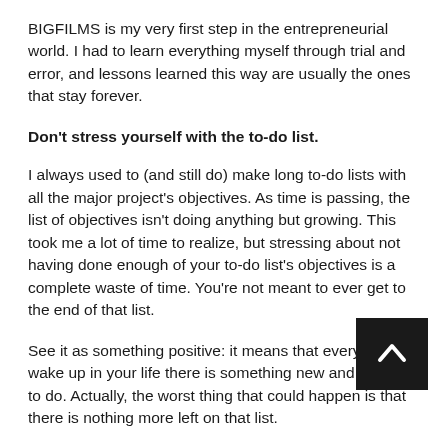BIGFILMS is my very first step in the entrepreneurial world. I had to learn everything myself through trial and error, and lessons learned this way are usually the ones that stay forever.
Don't stress yourself with the to-do list.
I always used to (and still do) make long to-do lists with all the major project's objectives. As time is passing, the list of objectives isn't doing anything but growing. This took me a lot of time to realize, but stressing about not having done enough of your to-do list's objectives is a complete waste of time. You're not meant to ever get to the end of that list.
See it as something positive: it means that every day you wake up in your life there is something new and exciting to do. Actually, the worst thing that could happen is that there is nothing more left on that list.